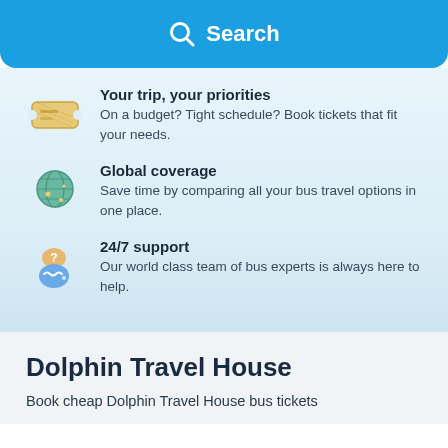[Figure (screenshot): Blue search button with magnifying glass icon and bold white text 'Search']
Your trip, your priorities
On a budget? Tight schedule? Book tickets that fit your needs.
Global coverage
Save time by comparing all your bus travel options in one place.
24/7 support
Our world class team of bus experts is always here to help.
Dolphin Travel House
Book cheap Dolphin Travel House bus tickets